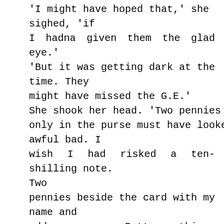'I might have hoped that,' she sighed, 'if I hadna given them the glad eye.' 'But it was getting dark at the time. They might have missed the G.E.' She shook her head. 'Two pennies only in the purse must have looked awful bad. I wish I had risked a ten-shilling note. Two pennies beside the card with my name and address—no, no, Betty; nothing could make the loss look genuine. And now those two boys'll be laughing their heads off. I'm